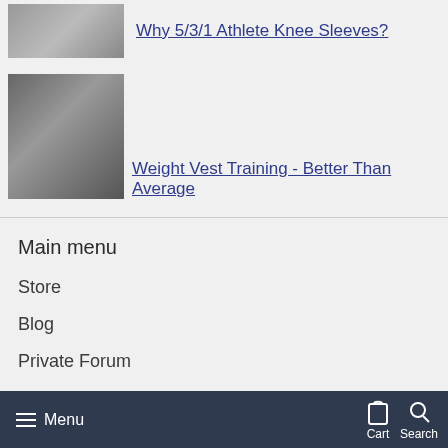[Figure (photo): Small thumbnail image of athlete with knee sleeves]
Why 5/3/1 Athlete Knee Sleeves?
[Figure (photo): Larger thumbnail image of person in gym with weight vest and 5/3/1 branding]
Weight Vest Training - Better Than Average
Main menu
Store
Blog
Private Forum
About Jim
Returns / Exchanges
Menu  Cart  Search